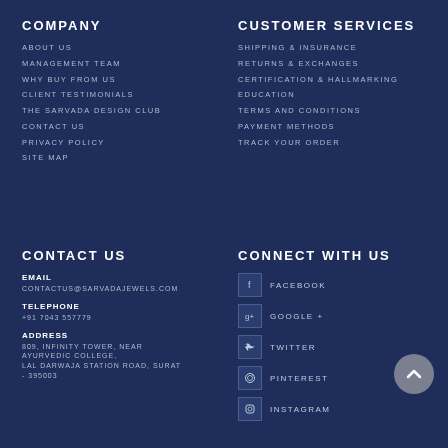COMPANY
ABOUT US
MANAGEMENT TEAM
WHY BUY FROM US
CLIENT TESTIMONIALS
THE SARVADA DESIGN CLUB
CONTACT US
PRIVACY POLICY
SITE MAP
CUSTOMER SERVICES
SHIPPING & INSURANCE
RETURNS & EXCHANGES
CERTIFICATION & HALLMARKING
EDUCATION
TERMS AND CONDITIONS
PAYMENT METHODS
TRACK YOUR ORDER
CONTACT US
EMAIL
CONTACTUS@SARVADAJEWELS.COM
TELEPHONE
+91 7043 557779
ADDRESS
809, INFINITY TOWER, NEAR AYURVEDIC COLLEGE, LAL DARWAJA STATION ROAD, SURAT - 395003
CONNECT WITH US
FACEBOOK
GOOGLE +
TWITTER
PINTEREST
INSTAGRAM